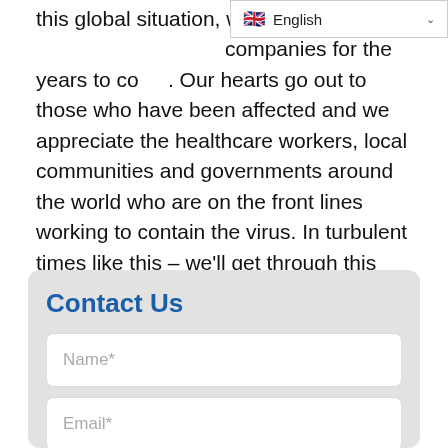this global situation, what we [can do is position our] companies for the years to come. Our hearts go out to those who have been affected and we appreciate the healthcare workers, local communities and governments around the world who are on the front lines working to contain the virus. In turbulent times like this – we'll get through this together.
Contact Us
Name*
Email*
Company Name*